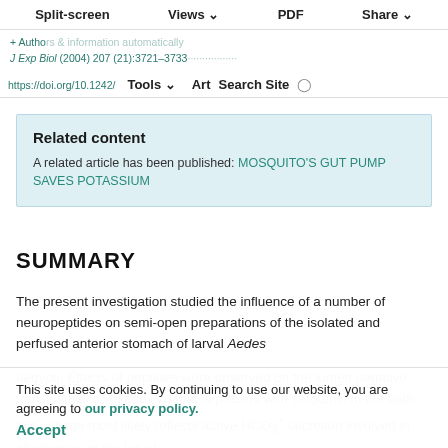Split-screen  Views  PDF  Share
J Exp Biol (2004) 207 (21):3721–3733  Tools  Art  Search Site
+ Authors & information  automatically
J Exp Biol (2004) 207 (21):3721–3733
https://doi.org/10.1242/...
Related content
A related article has been published: MOSQUITO'S GUT PUMP SAVES POTASSIUM
SUMMARY
The present investigation studied the influence of a number of neuropeptides on semi-open preparations of the isolated and perfused anterior stomach of larval Aedes aegypti. Effects of peptides were observed on the lumen negative transepithelial voltage (V_t) that is present with serotonin in the bath; this voltage most likely reflects active HCO3- secretion involved in alkalization of the larval
This site uses cookies. By continuing to use our website, you are agreeing to our privacy policy. Accept